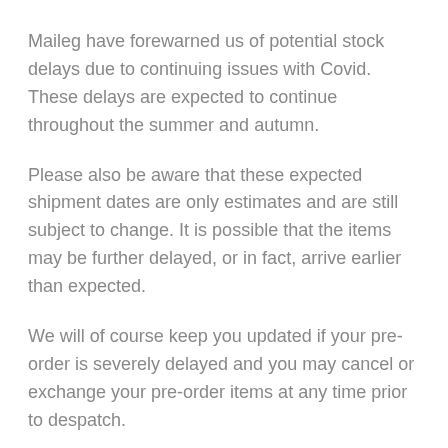Maileg have forewarned us of potential stock delays due to continuing issues with Covid. These delays are expected to continue throughout the summer and autumn.
Please also be aware that these expected shipment dates are only estimates and are still subject to change. It is possible that the items may be further delayed, or in fact, arrive earlier than expected.
We will of course keep you updated if your pre-order is severely delayed and you may cancel or exchange your pre-order items at any time prior to despatch.
Summer 2022 collection